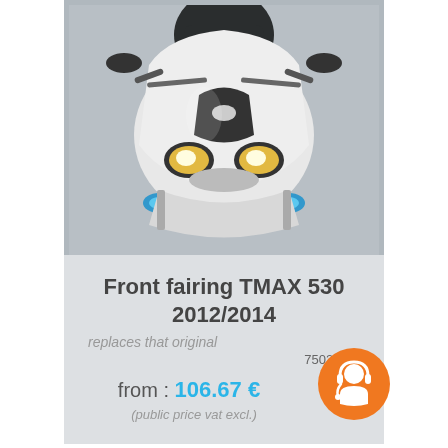[Figure (photo): Front view of a Yamaha TMAX 530 scooter/motorcycle with white fairing, headlights on, dark windscreen, and blue turn signals]
Front fairing TMAX 530 2012/2014
replaces that original
7502*110
from : 106.67 €
(public price vat excl.)